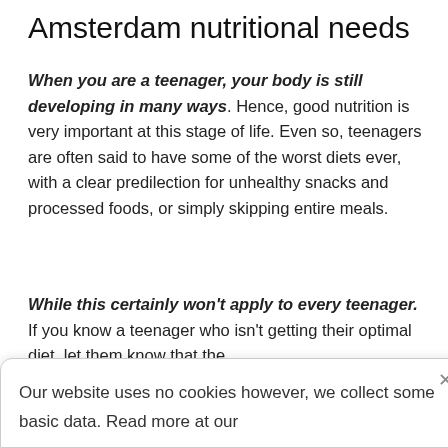Amsterdam nutritional needs
When you are a teenager, your body is still developing in many ways. Hence, good nutrition is very important at this stage of life. Even so, teenagers are often said to have some of the worst diets ever, with a clear predilection for unhealthy snacks and processed foods, or simply skipping entire meals.
While this certainly won't apply to every teenager. If you know a teenager who isn't getting their optimal diet, let them know that the occasional snack, be it sweet drinks, chocolate…
Our website uses no cookies however, we collect some basic data. Read more at our